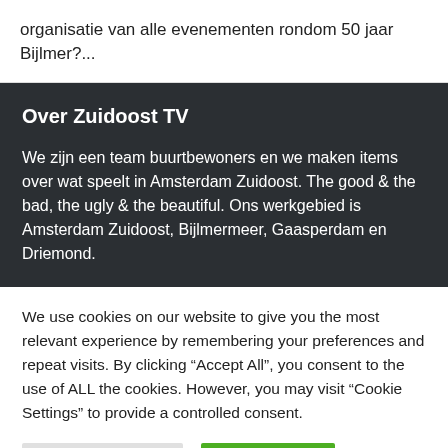organisatie van alle evenementen rondom 50 jaar Bijlmer?...
Over Zuidoost TV
We zijn een team buurtbewoners en we maken items over wat speelt in Amsterdam Zuidoost. The good & the bad, the ugly & the beautiful. Ons werkgebied is Amsterdam Zuidoost, Bijlmermeer, Gaasperdam en Driemond.
We use cookies on our website to give you the most relevant experience by remembering your preferences and repeat visits. By clicking "Accept All", you consent to the use of ALL the cookies. However, you may visit "Cookie Settings" to provide a controlled consent.
Cookie Settings   Accept All